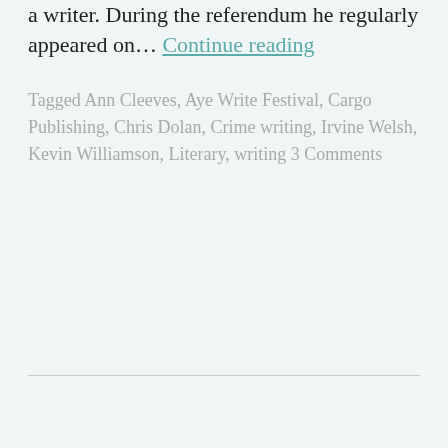a writer. During the referendum he regularly appeared on… Continue reading
Tagged Ann Cleeves, Aye Write Festival, Cargo Publishing, Chris Dolan, Crime writing, Irvine Welsh, Kevin Williamson, Literary, writing 3 Comments